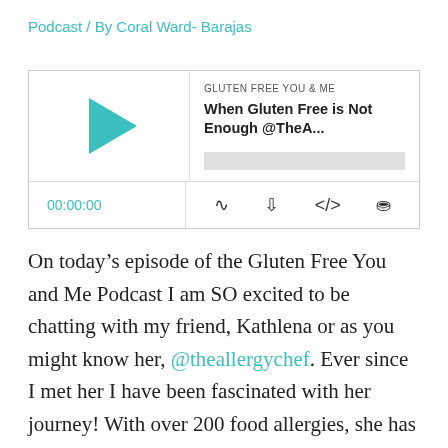Podcast / By Coral Ward- Barajas
[Figure (screenshot): Podcast player widget showing 'GLUTEN FREE YOU & ME' podcast episode titled 'When Gluten Free is Not Enough @TheA...' with play button, progress bar, time display 00:00:00, and control icons for subscribe, download, embed, and share.]
On today’s episode of the Gluten Free You and Me Podcast I am SO excited to be chatting with my friend, Kathlena or as you might know her, @theallergychef. Ever since I met her I have been fascinated with her journey! With over 200 food allergies, she has a handful of safe foods to eat and one source of safe water. Additionally, most of the members of her household also have food allergies and special diets, none of them the same. After being given